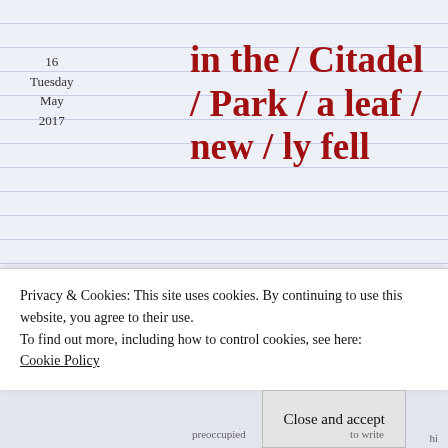16
Tuesday
May
2017
in the / Citadel / Park / a leaf / new / ly fell
Posted by M Lewis Redford in poems
≈ Leave a comment
[Figure (illustration): Circular refresh/reload arrow icon in a light gray square box]
Tags
Privacy & Cookies: This site uses cookies. By continuing to use this website, you agree to their use.
To find out more, including how to control cookies, see here:
Cookie Policy
Close and accept
preoccupied
to write
hi